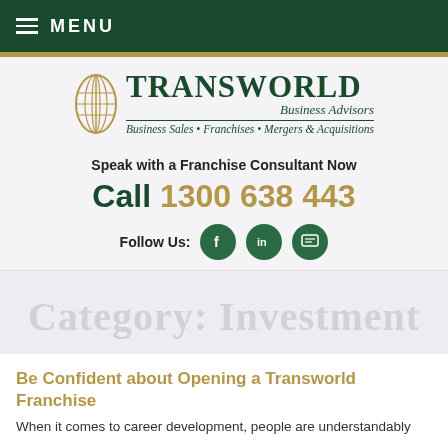MENU
[Figure (logo): Transworld Business Advisors logo with globe icon, tagline: Business Sales • Franchises • Mergers & Acquisitions]
Speak with a Franchise Consultant Now
Call 1300 638 443
Follow Us: [Facebook] [LinkedIn] [Chat]
Category: Investment
Be Confident about Opening a Transworld Franchise
When it comes to career development, people are understandably